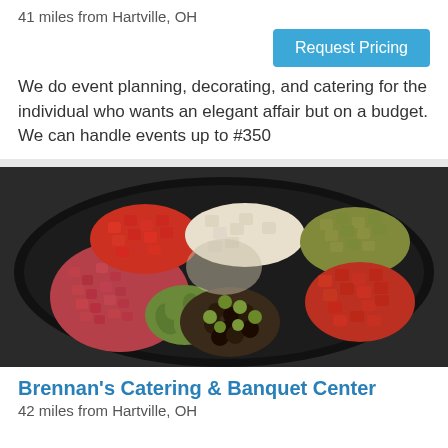41 miles from Hartville, OH
Request Pricing
We do event planning, decorating, and catering for the individual who wants an elegant affair but on a budget. We can handle events up to #350
[Figure (photo): A large black platter filled with an assortment of antipasto items including cubed salami, olives (green and black/kalamata), chopped red peppers, cubed cheese, and pickled peppers arranged in sections.]
Brennan's Catering & Banquet Center
42 miles from Hartville, OH